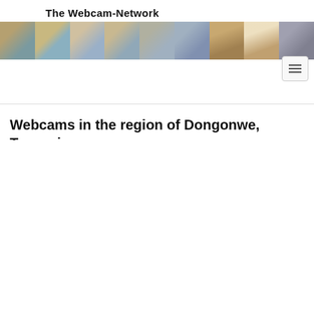The Webcam-Network
[Figure (photo): A horizontal strip of 9 webcam thumbnail images showing various locations including cityscapes, pyramids, mountains, and towers.]
Webcams in the region of Dongonwe, Tanzania
[Figure (map): An interactive map view showing the region of Dongonwe, Tanzania, with zoom in (+) and zoom out (-) controls on the left side.]